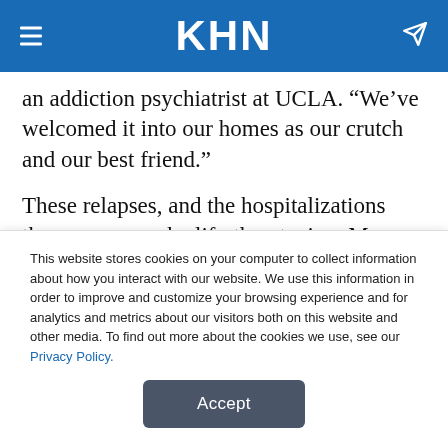KHN
an addiction psychiatrist at UCLA. “We’ve welcomed it into our homes as our crutch and our best friend.”
These relapses, and the hospitalizations they cause, can be life-threatening. More than 1 in 20 patients with alcohol-related liver failure die before leaving the hospital, and alcohol-related liver disease is the leading cause for transplantation.
This website stores cookies on your computer to collect information about how you interact with our website. We use this information in order to improve and customize your browsing experience and for analytics and metrics about our visitors both on this website and other media. To find out more about the cookies we use, see our Privacy Policy.